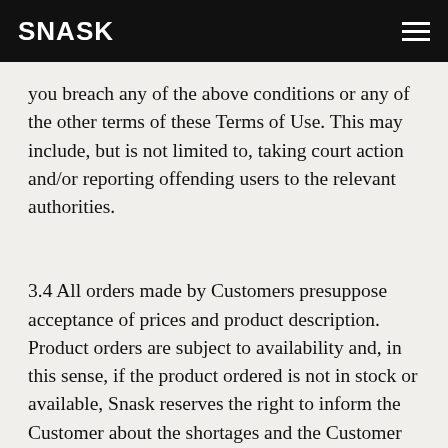SNASK
you breach any of the above conditions or any of the other terms of these Terms of Use. This may include, but is not limited to, taking court action and/or reporting offending users to the relevant authorities.
3.4 All orders made by Customers presuppose acceptance of prices and product description. Product orders are subject to availability and, in this sense, if the product ordered is not in stock or available, Snask reserves the right to inform the Customer about the shortages and the Customer will be given the possibility to change the order or cancel it and request the refund of all costs paid.
3.5 To place an order, the Customer will use the Platform. Once the purchase has been completed, the Customer